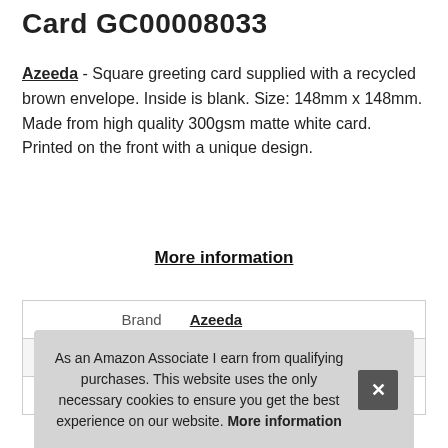Card GC00008033
Azeeda - Square greeting card supplied with a recycled brown envelope. Inside is blank. Size: 148mm x 148mm. Made from high quality 300gsm matte white card. Printed on the front with a unique design.
More information
|  |  |
| --- | --- |
| Brand | Azeeda |
| Manufacturer | Azeeda |
| P |  |
As an Amazon Associate I earn from qualifying purchases. This website uses the only necessary cookies to ensure you get the best experience on our website. More information